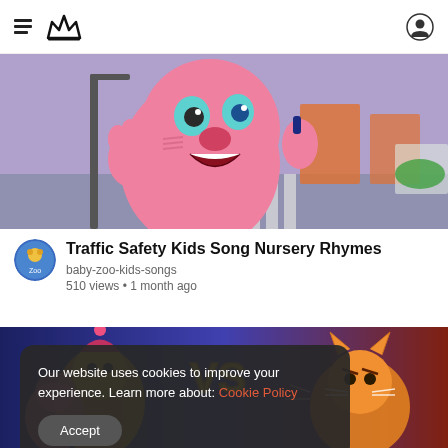[Figure (screenshot): Pink cartoon character waving on a street scene — thumbnail for Traffic Safety Kids Song Nursery Rhymes]
Traffic Safety Kids Song Nursery Rhymes
baby-zoo-kids-songs
510 views • 1 month ago
[Figure (screenshot): Animated cartoon VS battle scene with colorful characters — thumbnail for second video]
Our website uses cookies to improve your experience. Learn more about: Cookie Policy
Accept